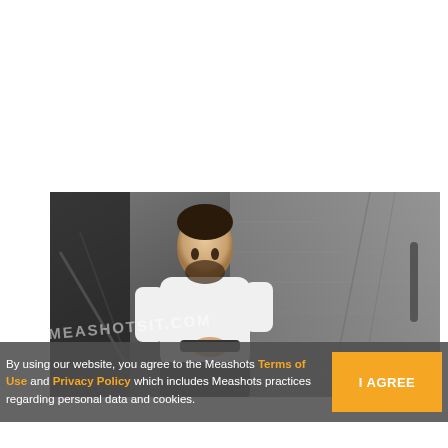[Figure (photo): A man in a white long-sleeve shirt sitting on gym equipment (treadmill/rowing machine) in a gym setting with a brick/stone wall background. Watermark text 'MEASHOTSIT.COM' visible across the image.]
By using our website, you agree to the Meashots Terms of Use and Privacy Policy which includes Meashots practices regarding personal data and cookies.